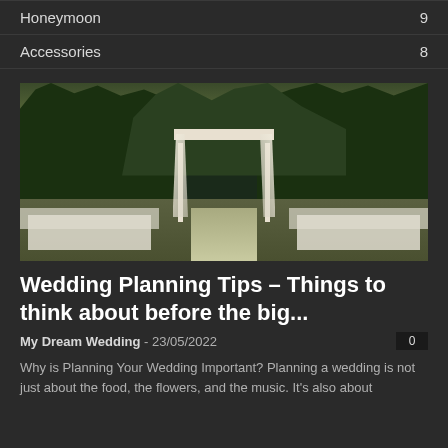Honeymoon  9
Accessories  8
[Figure (photo): Outdoor wedding ceremony setup with a white draped arch, white benches/chairs arranged in rows, green trees in background]
Wedding Planning Tips – Things to think about before the big...
My Dream Wedding  -  23/05/2022      0
Why is Planning Your Wedding Important? Planning a wedding is not just about the food, the flowers, and the music. It's also about